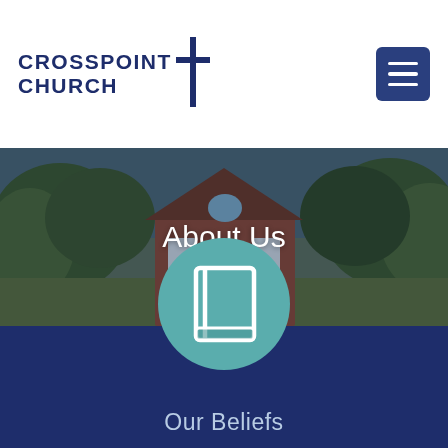CROSSPOINT CHURCH
[Figure (screenshot): Navigation hamburger menu button (three horizontal lines) on dark blue background]
[Figure (photo): Exterior photo of Crosspoint Church building surrounded by trees, with a dark overlay]
About Us
[Figure (illustration): Teal circle icon with a white book/Bible illustration]
Our Beliefs